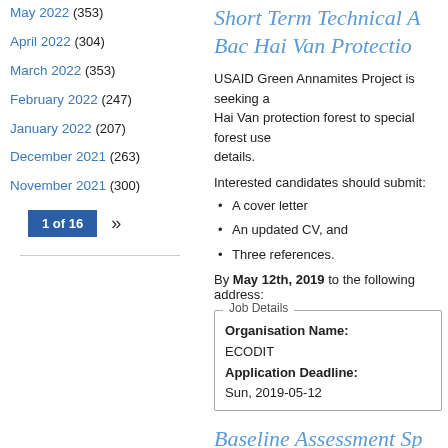May 2022 (353)
April 2022 (304)
March 2022 (353)
February 2022 (247)
January 2022 (207)
December 2021 (263)
November 2021 (300)
1 of 16  »
Short Term Technical A... Bac Hai Van Protectio...
USAID Green Annamites Project is seeking a... Hai Van protection forest to special forest use... details.
Interested candidates should submit:
A cover letter
An updated CV, and
Three references.
By May 12th, 2019 to the following address:
| Job Details |
| --- |
| Organisation Name: | ECODIT |
| Application Deadline: | Sun, 2019-05-12 |
Baseline Assessment Sp... Consultants)